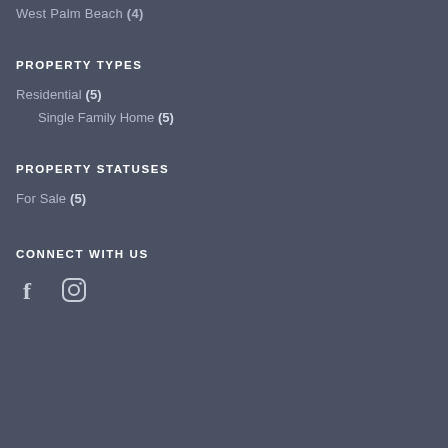West Palm Beach (4)
PROPERTY TYPES
Residential (5)
Single Family Home (5)
PROPERTY STATUSES
For Sale (5)
CONNECT WITH US
[Figure (other): Facebook and Instagram social media icons]